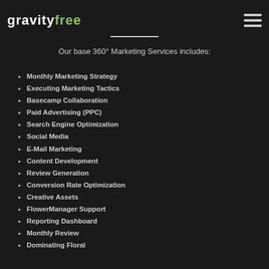GravityFree [logo with hamburger menu]
Our base 360° Marketing Services includes:
Monthly Marketing Strategy
Executing Marketing Tactics
Basecamp Collaboration
Paid Advertising (PPC)
Search Engine Optimization
Social Media
E-Mail Marketing
Content Development
Review Generation
Conversion Rate Optimization
Creative Assets
FlowerManager Support
Reporting Dashboard
Monthly Review
Dominating Floral